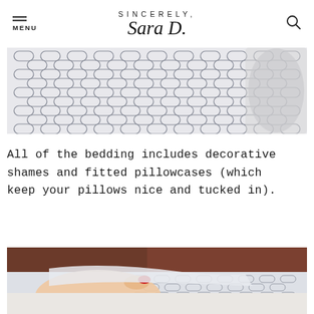SINCERELY, Sara D.
[Figure (photo): Close-up of decorative pillow/bedding fabric with geometric chain-link pattern in grey and white, partially showing a fluffy grey pillow in the corner]
All of the bedding includes decorative shames and fitted pillowcases (which keep your pillows nice and tucked in).
[Figure (photo): A hand with red nail polish holding/feeling the edge of a fitted pillowcase with geometric chain-link pattern fabric, showing the interior of the pillowcase against a dark background]